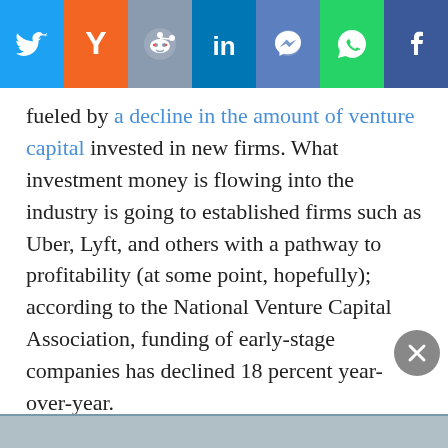[Figure (other): Social sharing bar with icons for Twitter, Hacker News (Y), Reddit, LinkedIn, Messenger, WhatsApp, and Facebook]
fueled by a decline in the amount of venture capital invested in new firms. What investment money is flowing into the industry is going to established firms such as Uber, Lyft, and others with a pathway to profitability (at some point, hopefully); according to the National Venture Capital Association, funding of early-stage companies has declined 18 percent year-over-year.
While fears of a bubble might be overblown (so to speak), the uncertainty over startup funding is yet another sign of how the tech industry can undergo a seismic shift in just a few quarters. But at least for the moment, from an employment perspective, things still seem rosy.